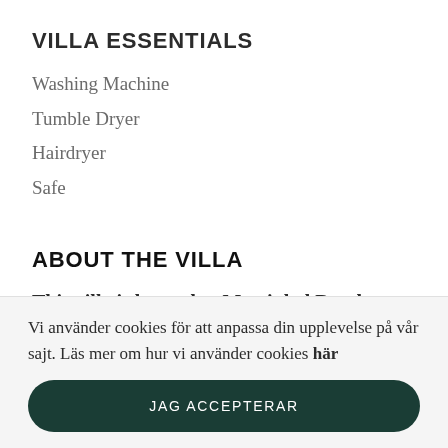VILLA ESSENTIALS
Washing Machine
Tumble Dryer
Hairdryer
Safe
ABOUT THE VILLA
This villa is located at Martinhal Beach
Vi använder cookies för att anpassa din upplevelse på vår sajt. Läs mer om hur vi använder cookies här
JAG ACCEPTERAR